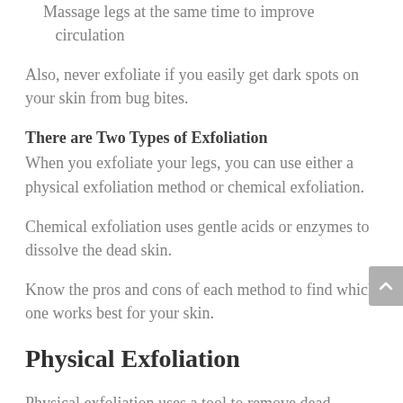Massage legs at the same time to improve circulation
Also, never exfoliate if you easily get dark spots on your skin from bug bites.
There are Two Types of Exfoliation
When you exfoliate your legs, you can use either a physical exfoliation method or chemical exfoliation.
Chemical exfoliation uses gentle acids or enzymes to dissolve the dead skin.
Know the pros and cons of each method to find which one works best for your skin.
Physical Exfoliation
Physical exfoliation uses a tool to remove dead